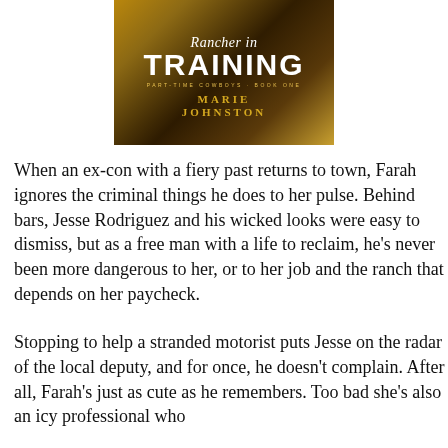[Figure (illustration): Book cover for 'Rancher in Training' by Marie Johnston. Part-Time Cowboys Book One. Features golden and dark rustic background with stylized title text.]
When an ex-con with a fiery past returns to town, Farah ignores the criminal things he does to her pulse. Behind bars, Jesse Rodriguez and his wicked looks were easy to dismiss, but as a free man with a life to reclaim, he's never been more dangerous to her, or to her job and the ranch that depends on her paycheck.
Stopping to help a stranded motorist puts Jesse on the radar of the local deputy, and for once, he doesn't complain. After all, Farah's just as cute as he remembers. Too bad she's also an icy professional w...